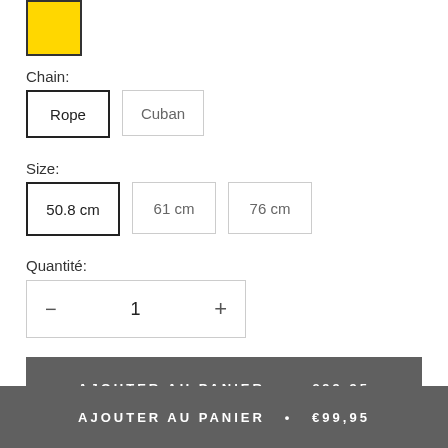[Figure (other): Yellow color swatch square with dark border]
Chain:
Rope
Cuban
Size:
50.8 cm
61 cm
76 cm
Quantité:
— 1 +
AJOUTER AU PANIER • €99,95
AJOUTER AU PANIER • €99,95